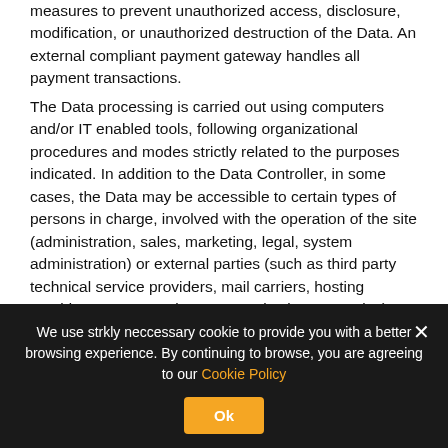measures to prevent unauthorized access, disclosure, modification, or unauthorized destruction of the Data. An external compliant payment gateway handles all payment transactions.
The Data processing is carried out using computers and/or IT enabled tools, following organizational procedures and modes strictly related to the purposes indicated. In addition to the Data Controller, in some cases, the Data may be accessible to certain types of persons in charge, involved with the operation of the site (administration, sales, marketing, legal, system administration) or external parties (such as third party technical service providers, mail carriers, hosting providers, IT companies, communications agencies) appointed, if necessary, as Data Processors by the Owner. The updated list of these parties may be requested from the Data
We use strkly neccessary cookie to provide you with a better browsing experience. By continuing to browse, you are agreeing to our Cookie Policy
Ok